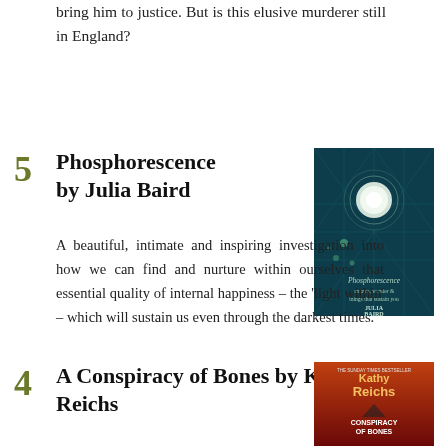bring him to justice. But is this elusive murderer still in England?
5 Phosphorescence by Julia Baird
[Figure (illustration): Book cover of Phosphorescence by Julia Baird — dark teal background with cosmic/geometric design and circular light motif]
A beautiful, intimate and inspiring investigation into how we can find and nurture within ourselves that essential quality of internal happiness – the 'light within' – which will sustain us even through the darkest times.
4 A Conspiracy of Bones by Kathy Reichs
[Figure (illustration): Book cover of A Conspiracy of Bones by Kathy Reichs — dark red/orange background with author name and title text]